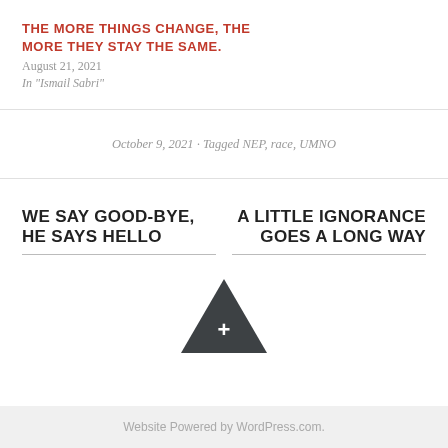THE MORE THINGS CHANGE, THE MORE THEY STAY THE SAME.
August 21, 2021
In "Ismail Sabri"
October 9, 2021 · Tagged NEP, race, UMNO
WE SAY GOOD-BYE, HE SAYS HELLO
A LITTLE IGNORANCE GOES A LONG WAY
[Figure (other): Dark triangle/arrow up button with a plus sign inside]
Website Powered by WordPress.com.